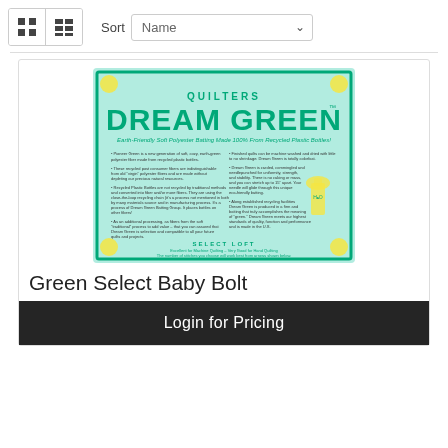Sort  Name
[Figure (photo): Quilters Dream Green product packaging image showing an eco-friendly soft polyester batting made from recycled plastic bottles, with green border and yellow corner decorations, featuring product details and size selection chart]
Green Select Baby Bolt
Login for Pricing